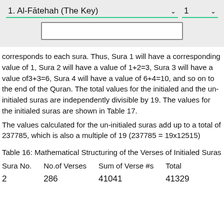1. Al-Fātehah (The Key)   1
corresponds to each sura. Thus, Sura 1 will have a corresponding value of 1, Sura 2 will have a value of 1+2=3, Sura 3 will have a value of3+3=6, Sura 4 will have a value of 6+4=10, and so on to the end of the Quran. The total values for the initialed and the un-initialed suras are independently divisible by 19. The values for the initialed suras are shown in Table 17.
The values calculated for the un-initialed suras add up to a total of 237785, which is also a multiple of 19 (237785 = 19x12515)
Table 16: Mathematical Structuring of the Verses of Initialed Suras
| Sura No. | No.of Verses | Sum of Verse #s | Total |
| --- | --- | --- | --- |
| 2 | 286 | 41041 | 41329 |